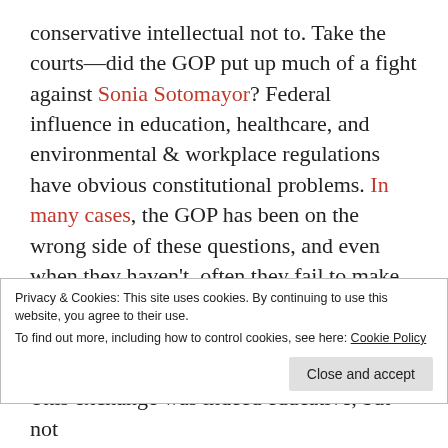conservative intellectual not to. Take the courts—did the GOP put up much of a fight against Sonia Sotomayor? Federal influence in education, healthcare, and environmental & workplace regulations have obvious constitutional problems. In many cases, the GOP has been on the wrong side of these questions, and even when they haven't, often they fail to make an issue of the constitutional aspect (though there are a few bright spots). Is restoring a proper
Privacy & Cookies: This site uses cookies. By continuing to use this website, you agree to their use. To find out more, including how to control cookies, see here: Cookie Policy
This exchange was indeed educative, but not